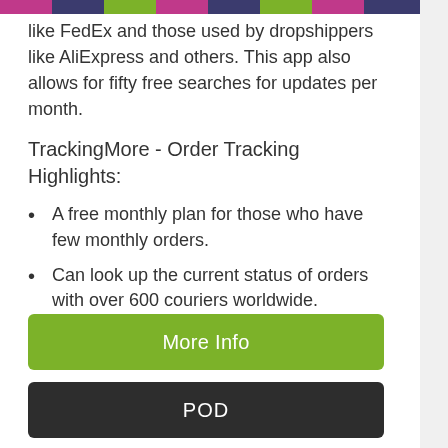like FedEx and those used by dropshippers like AliExpress and others. This app also allows for fifty free searches for updates per month.
TrackingMore - Order Tracking Highlights:
A free monthly plan for those who have few monthly orders.
Can look up the current status of orders with over 600 couriers worldwide.
Integrates with your current theme for cohesive look.
Custom status messages can be used.
More Info
POD